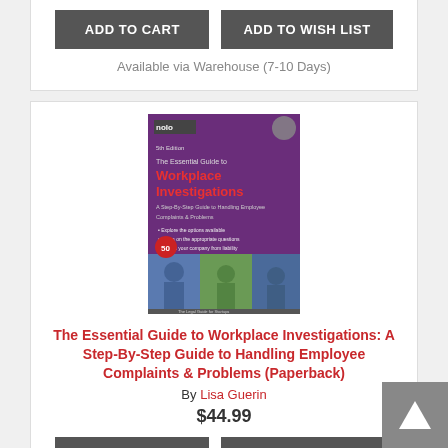ADD TO CART
ADD TO WISH LIST
Available via Warehouse (7-10 Days)
[Figure (illustration): Book cover: The Essential Guide to Workplace Investigations, Nolo publisher, purple cover with red title text and photos of people]
The Essential Guide to Workplace Investigations: A Step-By-Step Guide to Handling Employee Complaints & Problems (Paperback)
By Lisa Guerin
$44.99
ADD TO CART
ADD TO WISH LIST
Available via Warehouse (7-10 Days)